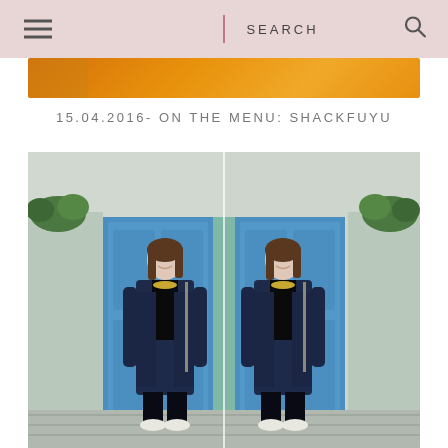SEARCH
[Figure (photo): Orange banner/header image partially visible at top]
15.04.2016- ON THE MENU: SHACKFUYU
[Figure (photo): Mirrored diptych photograph of a young woman in a navy coat standing in front of blue doors on a London street]